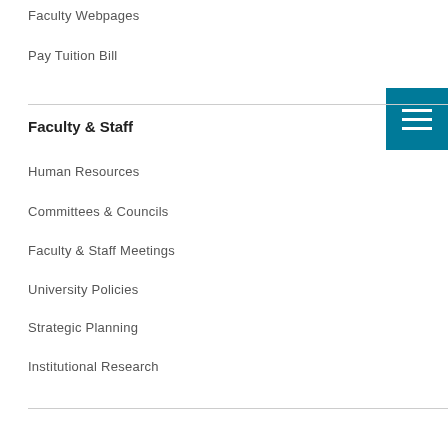Faculty Webpages
Pay Tuition Bill
Faculty & Staff
Human Resources
Committees & Councils
Faculty & Staff Meetings
University Policies
Strategic Planning
Institutional Research